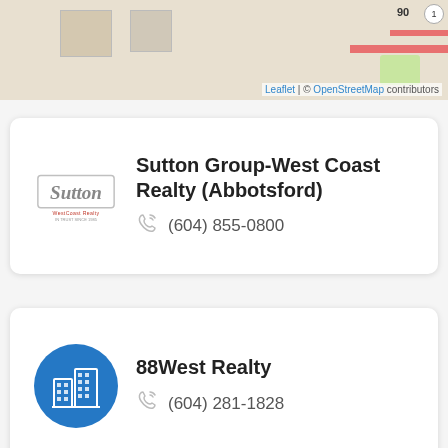[Figure (map): Partial street map showing roads with route numbers 90 and 1, with Leaflet/OpenStreetMap attribution]
[Figure (logo): Sutton West Coast Realty logo]
Sutton Group-West Coast Realty (Abbotsford)
(604) 855-0800
[Figure (illustration): Blue circle icon with white building/office illustration]
88West Realty
(604) 281-1828